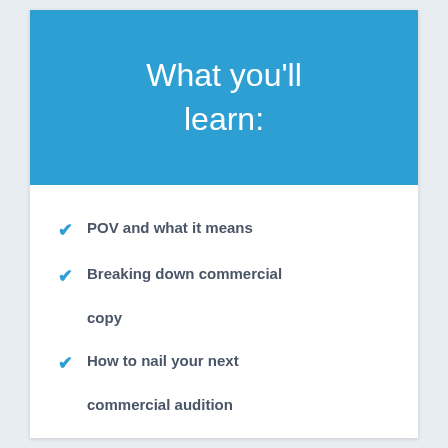What you'll learn:
POV and  what it means
Breaking down commercial copy
How to nail your next commercial audition